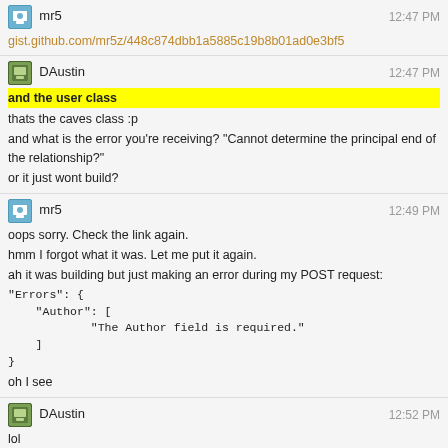mr5 12:47 PM
gist.github.com/mr5z/448c874dbb1a5885c19b8b01ad0e3bf5
DAustin 12:47 PM
and the user class
thats the caves class :p
and what is the error you're receiving? "Cannot determine the principal end of the relationship?"
or it just wont build?
mr5 12:49 PM
oops sorry. Check the link again.
hmm I forgot what it was. Let me put it again.
ah it was building but just making an error during my POST request:
"Errors": {
    "Author": [
            "The Author field is required."
    ]
}
oh I see
DAustin 12:52 PM
lol
mr5 12:52 PM
I'm only posting the authorId
would it be possible to forward that work to ASP?
I have the Id, the system could figure it out for me, no?